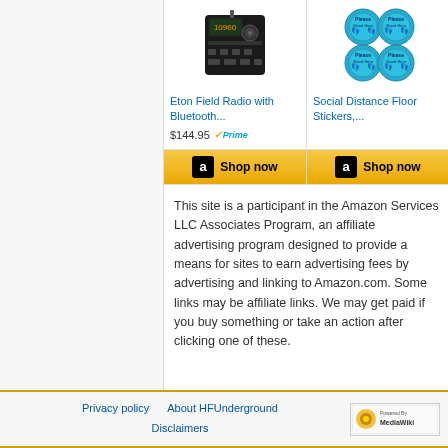[Figure (photo): Eton Field Radio product image]
[Figure (photo): Social Distance Floor Stickers product image]
Eton Field Radio with Bluetooth...
Social Distance Floor Stickers,...
$144.95 ✓Prime
[Figure (illustration): Shop now button with Amazon logo (left product)]
[Figure (illustration): Shop now button with Amazon logo (right product)]
This site is a participant in the Amazon Services LLC Associates Program, an affiliate advertising program designed to provide a means for sites to earn advertising fees by advertising and linking to Amazon.com. Some links may be affiliate links. We may get paid if you buy something or take an action after clicking one of these.
Privacy policy   About HFUnderground   Disclaimers   Powered By MediaWiki